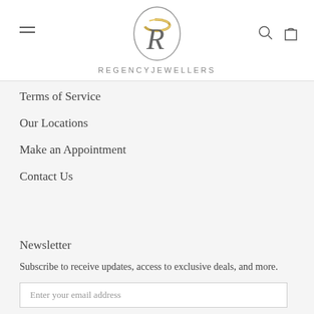[Figure (logo): Regency Jewellers logo — oval with stylized R and gold ring, text REGENCYJEWELLERS below]
Terms of Service
Our Locations
Make an Appointment
Contact Us
Newsletter
Subscribe to receive updates, access to exclusive deals, and more.
Enter your email address